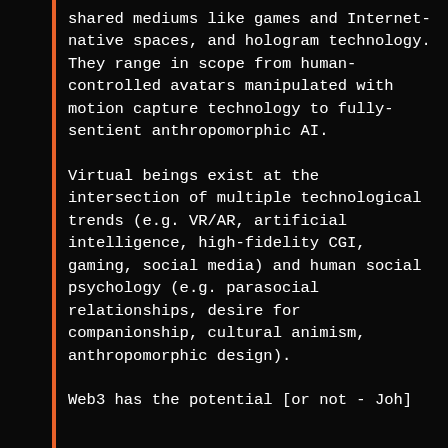shared mediums like games and Internet-native spaces, and hologram technology. They range in scope from human-controlled avatars manipulated with motion capture technology to fully-sentient anthropomorphic AI.
Virtual beings exist at the intersection of multiple technological trends (e.g. VR/AR, artificial intelligence, high-fidelity CGI, gaming, social media) and human social psychology (e.g. parasocial relationships, desire for companionship, cultural animism, anthropomorphic design).
Web3 has the potential [or not - Joh]